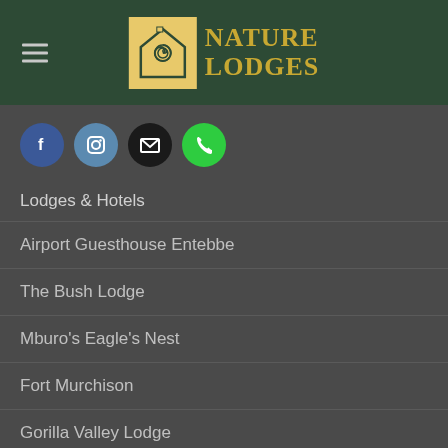NATURE LODGES
[Figure (logo): Nature Lodges logo with spiral house icon on golden background and golden text NATURE LODGES]
[Figure (infographic): Social media icons: Facebook (blue), Instagram (blue-grey), Email (black), Phone (green)]
Lodges & Hotels
Airport Guesthouse Entebbe
The Bush Lodge
Mburo's Eagle's Nest
Fort Murchison
Gorilla Valley Lodge
Kibale Forest Camp